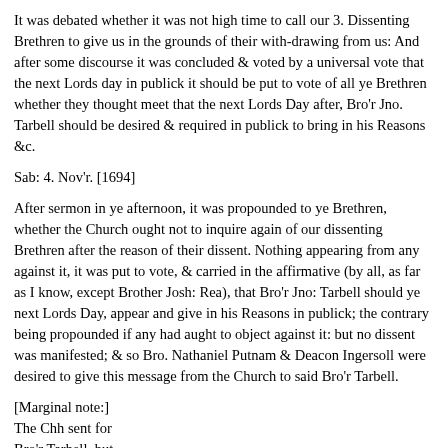It was debated whether it was not high time to call our 3. Dissenting Brethren to give us in the grounds of their with-drawing from us: And after some discourse it was concluded & voted by a universal vote that the next Lords day in publick it should be put to vote of all ye Brethren whether they thought meet that the next Lords Day after, Bro'r Jno. Tarbell should be desired & required in publick to bring in his Reasons &c.
Sab: 4. Nov'r. [1694]
After sermon in ye afternoon, it was propounded to ye Brethren, whether the Church ought not to inquire again of our dissenting Brethren after the reason of their dissent. Nothing appearing from any against it, it was put to vote, & carried in the affirmative (by all, as far as I know, except Brother Josh: Rea), that Bro'r Jno: Tarbell should ye next Lords Day, appear and give in his Reasons in publick; the contrary being propounded if any had aught to object against it: but no dissent was manifested; & so Bro. Nathaniel Putnam & Deacon Ingersoll were desired to give this message from the Church to said Bro'r Tarbell.
[Marginal note:]
The Chh sent for
Bro'r Tarbell, but
he made no appearance.